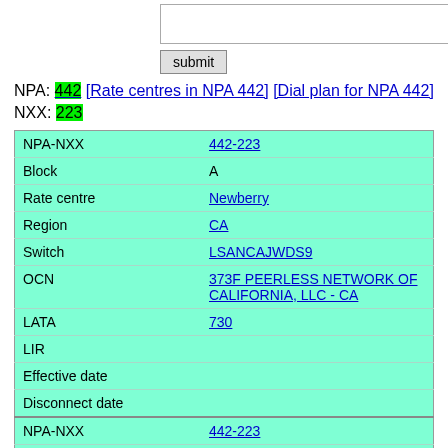NPA: 442 [Rate centres in NPA 442] [Dial plan for NPA 442]
NXX: 223
| Field | Value |
| --- | --- |
| NPA-NXX | 442-223 |
| Block | A |
| Rate centre | Newberry |
| Region | CA |
| Switch | LSANCAJWDS9 |
| OCN | 373F PEERLESS NETWORK OF CALIFORNIA, LLC - CA |
| LATA | 730 |
| LIR |  |
| Effective date |  |
| Disconnect date |  |
| NPA-NXX | 442-223 |
| Block | 0 |